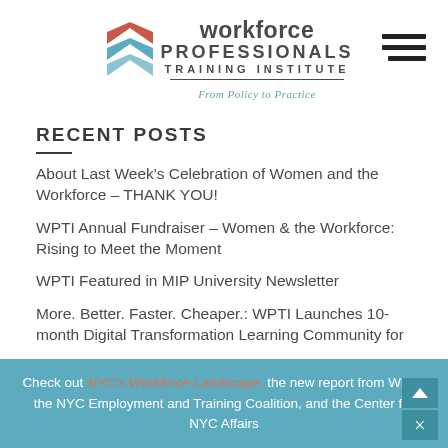[Figure (logo): Workforce Professionals Training Institute logo with stacked chevrons in red and teal, text 'workforce PROFESSIONALS TRAINING INSTITUTE From Policy to Practice']
RECENT POSTS
About Last Week's Celebration of Women and the Workforce – THANK YOU!
WPTI Annual Fundraiser – Women & the Workforce: Rising to Meet the Moment
WPTI Featured in MIP University Newsletter
More. Better. Faster. Cheaper.: WPTI Launches 10-month Digital Transformation Learning Community for
Check out NYC's Workforce Landscape, the new report from WPTI, the NYC Employment and Training Coalition, and the Center for NYC Affairs